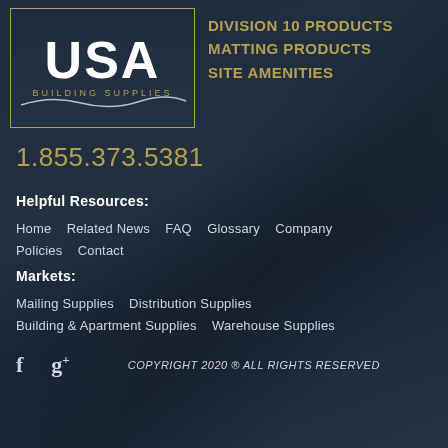[Figure (logo): USA Building Supplies logo — dark navy rectangular box with gold border, large white bold 'USA' text, smaller gold 'BUILDING SUPPLIES' text below, white wave graphic at bottom]
DIVISION 10 PRODUCTS
MATTING PRODUCTS
SITE AMENITIES
1.855.373.5381
Helpful Resources:
Home   Related News   FAQ   Glossary   Company Policies   Contact
Markets:
Mailing Supplies   Distribution Supplies
Building & Apartment Supplies   Warehouse Supplies
f   g+   COPYRIGHT 2020 ® ALL RIGHTS RESERVED